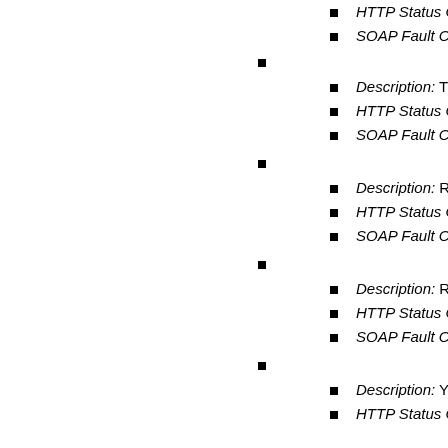HTTP Status Code: 400 Bad Request
SOAP Fault Code Prefix: Client
Code: SignatureDoesNotMatch
Description: The request signature we ca
HTTP Status Code: 403 Forbidden
SOAP Fault Code Prefix: Client
Code: ServiceUnavailable
Description: Reduce your request rate.
HTTP Status Code: 503 Service Unavail
SOAP Fault Code Prefix: Server
Code: SlowDown
Description: Reduce your request rate.
HTTP Status Code: 503 Slow Down
SOAP Fault Code Prefix: Server
Code: TemporaryRedirect
Description: You are being redirected to
HTTP Status Code: 307 Moved Tempora